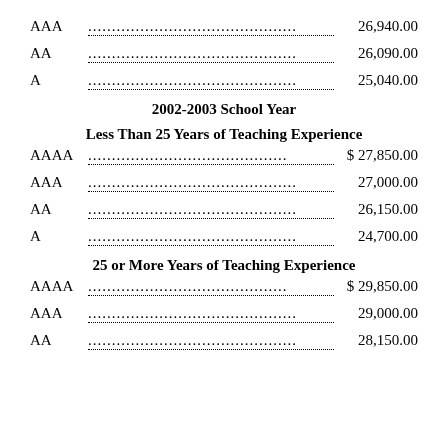AAA... 26,940.00
AA... 26,090.00
A... 25,040.00
2002-2003 School Year
Less Than 25 Years of Teaching Experience
AAAA... $ 27,850.00
AAA... 27,000.00
AA... 26,150.00
A... 24,700.00
25 or More Years of Teaching Experience
AAAA... $ 29,850.00
AAA... 29,000.00
AA... 28,150.00